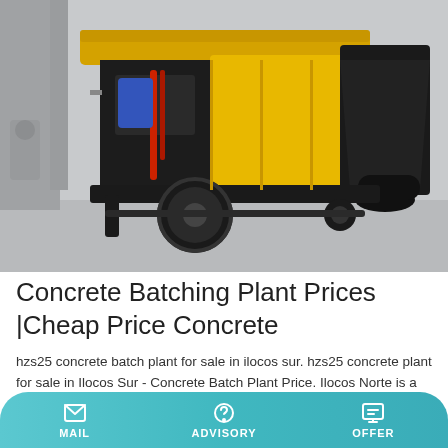[Figure (photo): Yellow concrete batch pump machine parked in a covered area, showing open engine compartment with red pipes, large black hopper on right, tire wheel visible, on a concrete floor]
Concrete Batching Plant Prices |Cheap Price Concrete
hzs25 concrete batch plant for sale in ilocos sur. hzs25 concrete plant for sale in Ilocos Sur - Concrete Batch Plant Price. Ilocos Norte is a province of the Philippines located in the Ilocos Region.
Learn More
MAIL  ADVISORY  OFFER